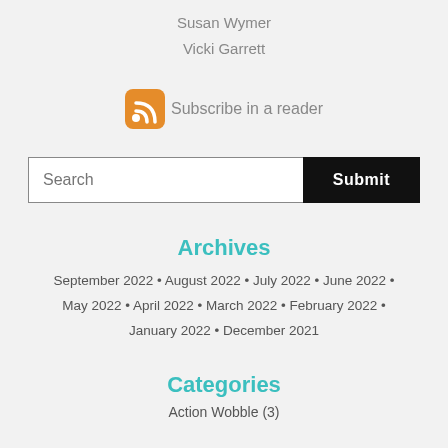Susan Wymer
Vicki Garrett
[Figure (illustration): Orange RSS feed icon followed by text 'Subscribe in a reader']
[Figure (other): Search input box with 'Search' placeholder and a black 'Submit' button]
Archives
September 2022 • August 2022 • July 2022 • June 2022 • May 2022 • April 2022 • March 2022 • February 2022 • January 2022 • December 2021
Categories
Action Wobble (3)